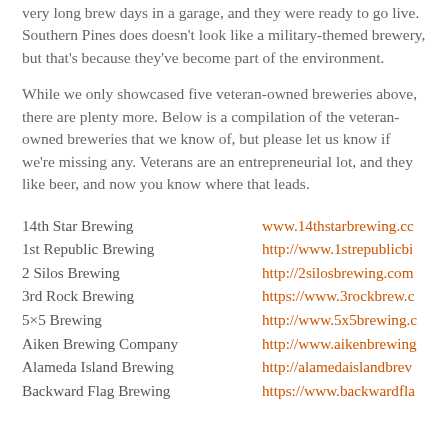very long brew days in a garage, and they were ready to go live. Southern Pines does doesn't look like a military-themed brewery, but that's because they've become part of the environment.
While we only showcased five veteran-owned breweries above, there are plenty more. Below is a compilation of the veteran-owned breweries that we know of, but please let us know if we're missing any. Veterans are an entrepreneurial lot, and they like beer, and now you know where that leads.
14th Star Brewing — www.14thstarbrewing.cc
1st Republic Brewing — http://www.1strepublicbi
2 Silos Brewing — http://2silosbrewing.com
3rd Rock Brewing — https://www.3rockbrew.c
5×5 Brewing — http://www.5x5brewing.c
Aiken Brewing Company — http://www.aikenbrewing
Alameda Island Brewing — http://alamedaislandbrev
Backward Flag Brewing — https://www.backwardfla